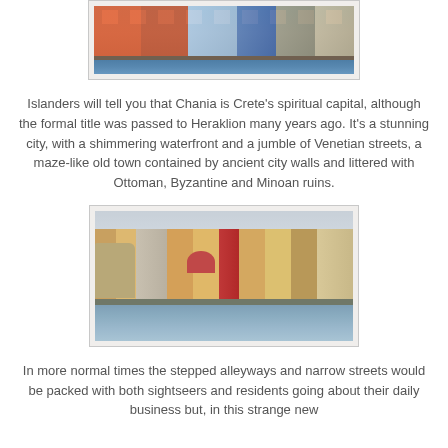[Figure (photo): Top portion of a waterfront scene in Chania, Crete, showing restaurant/cafe umbrellas along a harbor promenade with colorful buildings in the background]
Islanders will tell you that Chania is Crete's spiritual capital, although the formal title was passed to Heraklion many years ago. It's a stunning city, with a shimmering waterfront and a jumble of Venetian streets, a maze-like old town contained by ancient city walls and littered with Ottoman, Byzantine and Minoan ruins.
[Figure (photo): Panoramic view of Chania's Venetian harbour from the water, showing colourful historic buildings, a mosque dome, and the old harbour fortifications under a grey sky]
In more normal times the stepped alleyways and narrow streets would be packed with both sightseers and residents going about their daily business but, in this strange new